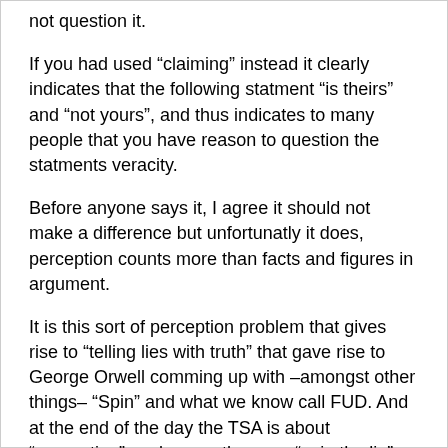not question it.
If you had used “claiming” instead it clearly indicates that the following statment “is theirs” and “not yours”, and thus indicates to many people that you have reason to question the statments veracity.
Before anyone says it, I agree it should not make a difference but unfortunatly it does, perception counts more than facts and figures in argument.
It is this sort of perception problem that gives rise to “telling lies with truth” that gave rise to George Orwell comming up with –amongst other things– “Spin” and what we know call FUD. And at the end of the day the TSA is about “perception”, as long as they can “spin the lie” that they are “protecting you at any cost” then they will exist. To destroy the TSA you have to destroy the perception they cultivate in peoples minds.
They always fall back on that old “if you knew what we know but can’t tell you” line that the Military and other security agencies have fallen back on time and time again to extract to challenge, from a scrutiny committee and so on. And